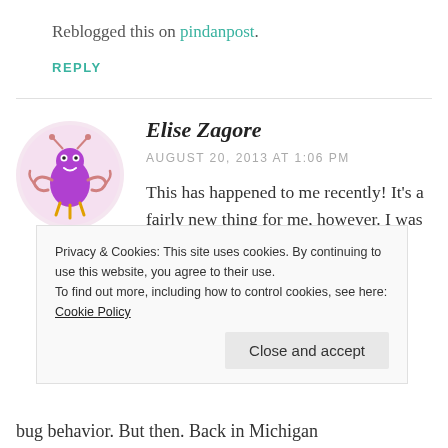Reblogged this on pindanpost.
REPLY
Elise Zagore
AUGUST 20, 2013 AT 1:06 PM
This has happened to me recently! It's a fairly new thing for me, however. I was in a Zoo in Florida when a dragonfly came and
Privacy & Cookies: This site uses cookies. By continuing to use this website, you agree to their use.
To find out more, including how to control cookies, see here: Cookie Policy
Close and accept
bug behavior. But then. Back in Michigan